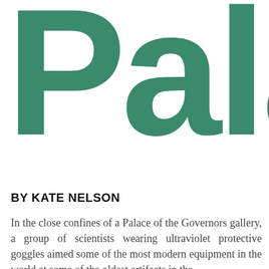Palac
BY KATE NELSON
In the close confines of a Palace of the Governors gallery, a group of scientists wearing ultraviolet protective goggles aimed some of the most modern equipment in the world at some of the oldest artifacts in the state. When they were done, they had